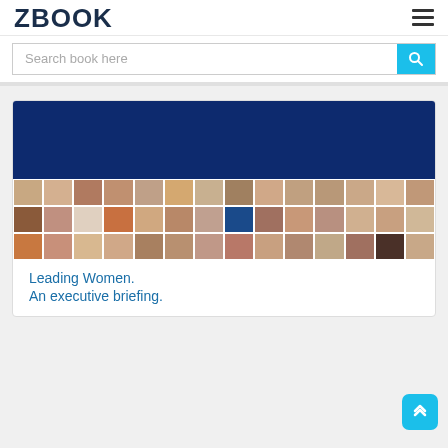ZBOOK
Search book here
[Figure (screenshot): Book cover for 'Leading Women. An executive briefing.' showing a dark navy blue top section and a grid of portrait photos of women below it.]
Leading Women.
An executive briefing.